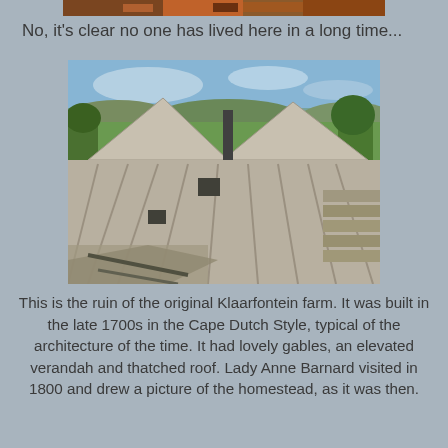[Figure (photo): Partial top edge of a reddish-brown rock or landscape photo visible at top of page]
No, it's clear no one has lived here in a long time...
[Figure (photo): Ruins of the original Klaarfontein farm showing collapsed stone walls and roof structure with blue sky and green fields in background]
This is the ruin of the original Klaarfontein farm.  It was built in the late 1700s in the Cape Dutch Style, typical of the architecture of the time.  It had lovely gables, an elevated verandah and thatched roof.  Lady Anne Barnard visited in 1800 and drew a picture of the homestead, as it was then.